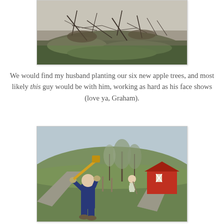[Figure (photo): Outdoor scene showing tangled branches, twigs, and sparse grass on hilly ground, possibly showing old apple tree roots or cleared brush.]
We would find my husband planting our six new apple trees, and most likely this guy would be with him, working as hard as his face shows (love ya, Graham).
[Figure (photo): A young man in a dark blue shirt holding a yellow-handled tool (mattock or pickaxe) over his shoulder, smiling, on a grassy hillside. In the background another person works and a red barn is visible. Trees are bare in early spring.]